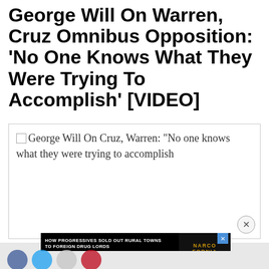George Will On Warren, Cruz Omnibus Opposition: 'No One Knows What They Were Trying To Accomplish' [VIDEO]
[Figure (screenshot): Broken image placeholder with alt text: George Will On Cruz, Warren: "No one knows what they were trying to accomplish"]
[Figure (other): Advertisement banner: HOW PROGRESSIVES SOLD OUT RURAL TOWNS TO FOREIGN DRUG LORDS - NARCOFORNIA - WATCH NOW button. With close X button.]